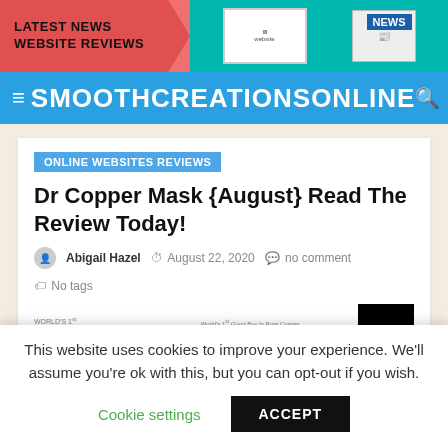[Figure (screenshot): Top banner with 'LATEST NEWS WEBSITE REVIEWS' text on pink/red background with arrow shape, and teal right section showing website/magazine imagery]
SMOOTHCREATIONSONLINE
ONLINE WEBSITES REVIEWS
Dr Copper Mask {August} Read The Review Today!
Abigail Hazel   August 22, 2020   no comment   No tags
[Figure (logo): Dr Copper product logos and black box image strip]
This website uses cookies to improve your experience. We'll assume you're ok with this, but you can opt-out if you wish.
Cookie settings   ACCEPT